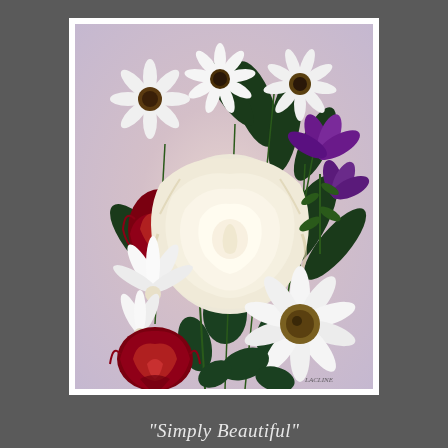[Figure (illustration): A detailed painting of a floral bouquet featuring a large white rose at the center, red roses at the lower left, white daisies/chrysanthemums at the top and lower right, purple flowers in the upper right, white lily-like flowers in the middle left, and dark green foliage throughout, on a soft pink-lavender background. Artist signature 'LACLINE' in lower right corner.]
"Simply Beautiful"